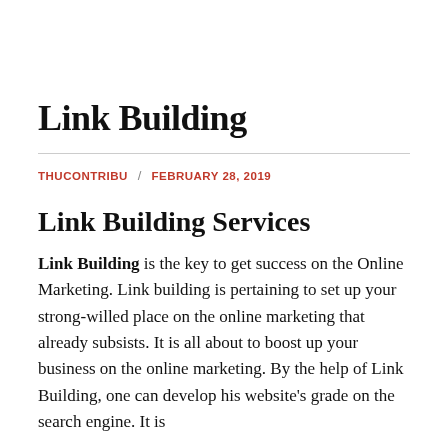Link Building
THUCONTRIBU / FEBRUARY 28, 2019
Link Building Services
Link Building is the key to get success on the Online Marketing. Link building is pertaining to set up your strong-willed place on the online marketing that already subsists. It is all about to boost up your business on the online marketing. By the help of Link Building, one can develop his website's grade on the search engine. It is